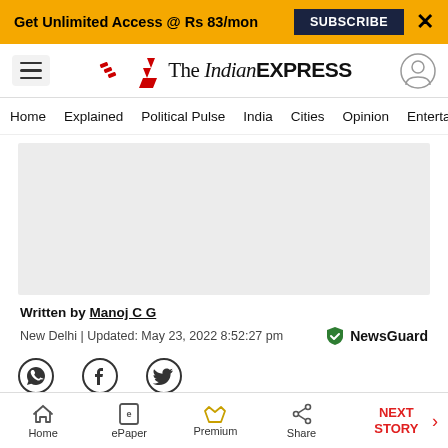Get Unlimited Access @ Rs 83/mon  SUBSCRIBE  X
The Indian EXPRESS — Home  Explained  Political Pulse  India  Cities  Opinion  Entertainment
[Figure (other): Advertisement placeholder block (gray rectangle)]
Written by Manoj C G
New Delhi | Updated: May 23, 2022 8:52:27 pm
[Figure (logo): NewsGuard badge]
[Figure (other): Social share icons: WhatsApp, Facebook, Twitter]
[Figure (photo): Article image strip at bottom of content area]
Home  ePaper  Premium  Share  NEXT STORY →